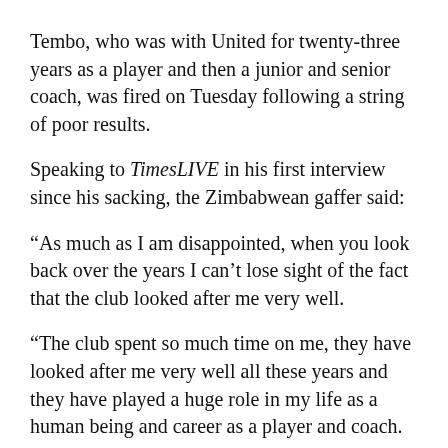Tembo, who was with United for twenty-three years as a player and then a junior and senior coach, was fired on Tuesday following a string of poor results.
Speaking to TimesLIVE in his first interview since his sacking, the Zimbabwean gaffer said:
“As much as I am disappointed, when you look back over the years I can’t lose sight of the fact that the club looked after me very well.
“The club spent so much time on me, they have looked after me very well all these years and they have played a huge role in my life as a human being and career as a player and coach.
“I appreciate the role they played in my life and I leave a better person than I was when I arrived more than 20 years ago. There are no hard feelings towards anyone at